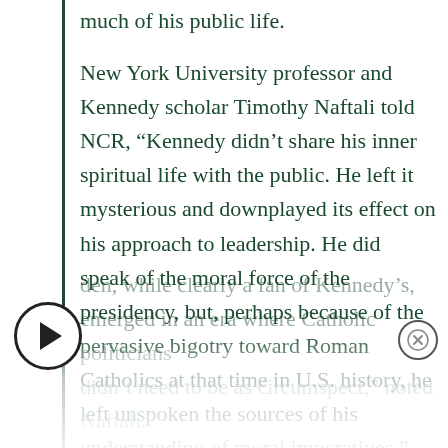much of his public life.
New York University professor and Kennedy scholar Timothy Naftali told NCR, “Kennedy didn’t share his inner spiritual life with the public. He left it mysterious and downplayed its effect on his approach to leadership. He did speak of the moral force of the presidency, but, perhaps because of the pervasive bigotry toward Roman Catholics at that time in U.S. history, he left unspoken the sources of his understanding of moral imperatives.”
den, while clearly a fan of Kennedy’s, emerged in an era where Catholic politicians didn’t need to be as circumspect,” noted Naftali.